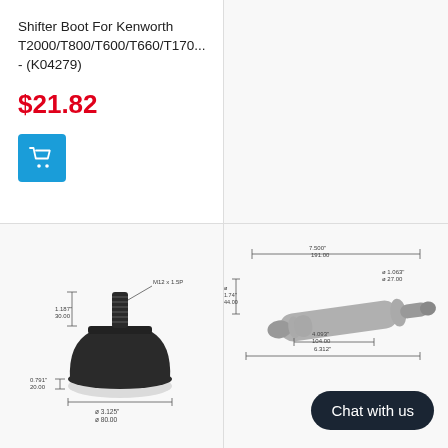Shifter Boot For Kenworth T2000/T800/T600/T660/T170... - (K04279)
$21.82
[Figure (engineering-diagram): Technical diagram of rubber shifter boot/cap showing front view with dimensions: M12 x 1.5P thread, height 1.187"/30.00, base height 0.791"/20.00, diameter ø 3.125"/ø 80.00]
[Figure (engineering-diagram): Technical diagram of cylindrical shifter boot showing side view with dimensions: length 7.500"/191.00, diameter ø 1.063"/ø 27.00, length 4.093"/104.00, width 6.112", and other measurements]